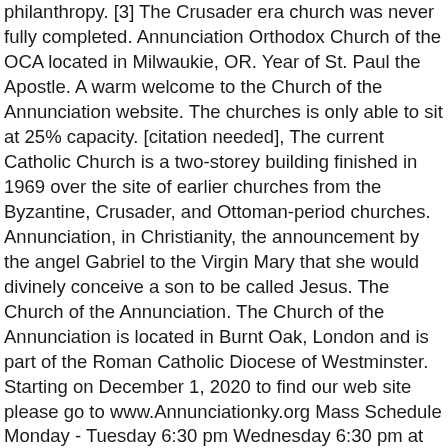philanthropy. [3] The Crusader era church was never fully completed. Annunciation Orthodox Church of the OCA located in Milwaukie, OR. Year of St. Paul the Apostle. A warm welcome to the Church of the Annunciation website. The churches is only able to sit at 25% capacity. [citation needed], The current Catholic Church is a two-storey building finished in 1969 over the site of earlier churches from the Byzantine, Crusader, and Ottoman-period churches. Annunciation, in Christianity, the announcement by the angel Gabriel to the Virgin Mary that she would divinely conceive a son to be called Jesus. The Church of the Annunciation. The Church of the Annunciation is located in Burnt Oak, London and is part of the Roman Catholic Diocese of Westminster. Starting on December 1, 2020 to find our web site please go to www.Annunciationky.org Mass Schedule Monday - Tuesday 6:30 pm Wednesday 6:30 pm at St. John Chrysostom Church of the Annunciation. The Church of the Annunciation, or The